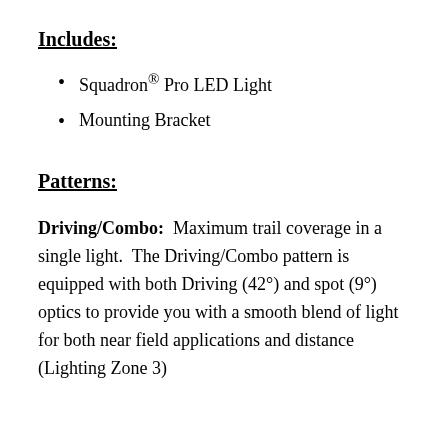Includes:
Squadron® Pro LED Light
Mounting Bracket
Patterns:
Driving/Combo:  Maximum trail coverage in a single light.  The Driving/Combo pattern is equipped with both Driving (42°) and spot (9°) optics to provide you with a smooth blend of light for both near field applications and distance (Lighting Zone 3)